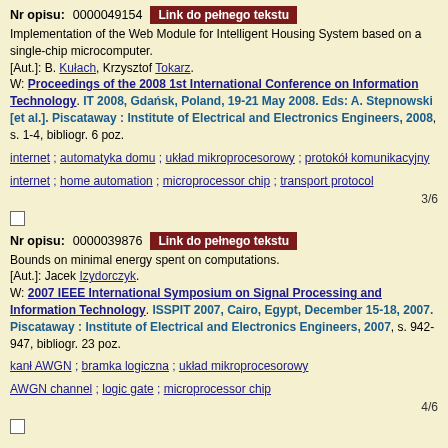Nr opisu: 0000049154 Link do pełnego tekstu
Implementation of the Web Module for Intelligent Housing System based on a single-chip microcomputer.
[Aut.]: B. Kułach, Krzysztof Tokarz.
W: Proceedings of the 2008 1st International Conference on Information Technology. IT 2008, Gdańsk, Poland, 19-21 May 2008. Eds: A. Stepnowski [et al.]. Piscataway : Institute of Electrical and Electronics Engineers, 2008, s. 1-4, bibliogr. 6 poz.
internet ; automatyka domu ; układ mikroprocesorowy ; protokół komunikacyjny
internet ; home automation ; microprocessor chip ; transport protocol
3/6
Nr opisu: 0000039876 Link do pełnego tekstu
Bounds on minimal energy spent on computations.
[Aut.]: Jacek Izydorczyk.
W: 2007 IEEE International Symposium on Signal Processing and Information Technology. ISSPIT 2007, Cairo, Egypt, December 15-18, 2007. Piscataway : Institute of Electrical and Electronics Engineers, 2007, s. 942-947, bibliogr. 23 poz.
kanł AWGN ; bramka logiczna ; układ mikroprocesorowy
AWGN channel ; logic gate ; microprocessor chip
4/6